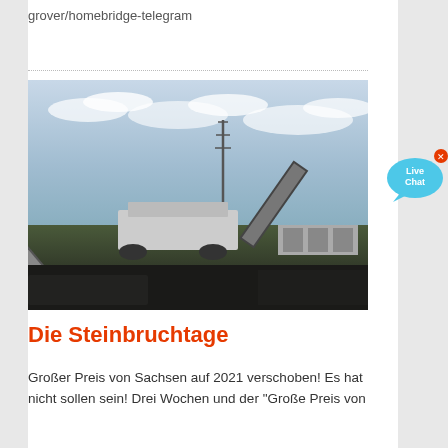grover/homebridge-telegram
[Figure (photo): Industrial quarry/mining machinery with conveyor belts against a cloudy sky]
Die Steinbruchtage
Großer Preis von Sachsen auf 2021 verschoben! Es hat nicht sollen sein! Drei Wochen und der "Große Preis von